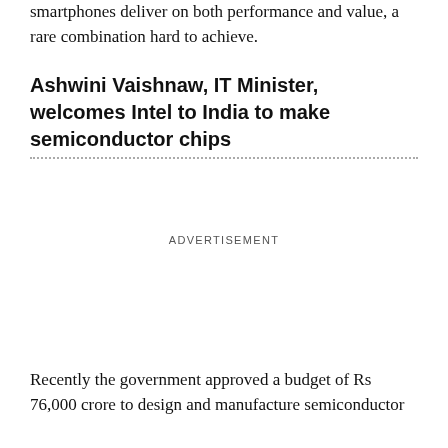smartphones deliver on both performance and value, a rare combination hard to achieve.
Ashwini Vaishnaw, IT Minister, welcomes Intel to India to make semiconductor chips
ADVERTISEMENT
Recently the government approved a budget of Rs 76,000 crore to design and manufacture semiconductor